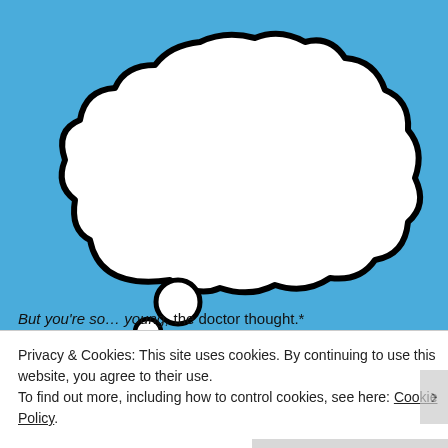[Figure (illustration): A thought bubble (cloud shape with three small circles below it indicating the thought trail) on a blue background, empty white interior. Below the thought bubble is a partial view of a person's head.]
But you're so... young, the doctor thought.*
Privacy & Cookies: This site uses cookies. By continuing to use this website, you agree to their use.
To find out more, including how to control cookies, see here: Cookie Policy